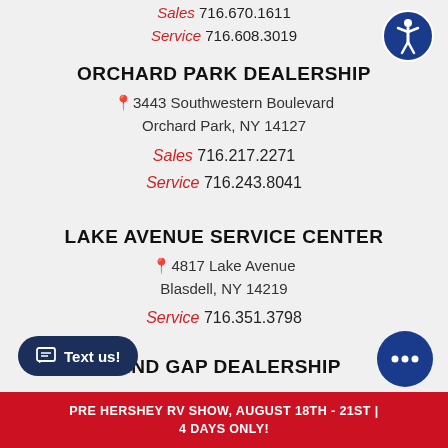Sales 716.670.1611
Service 716.608.3019
ORCHARD PARK DEALERSHIP
3443 Southwestern Boulevard
Orchard Park, NY 14127
Sales 716.217.2271
Service 716.243.8041
LAKE AVENUE SERVICE CENTER
4817 Lake Avenue
Blasdell, NY 14219
Service 716.351.3798
WIND GAP DEALERSHIP
PRE HERSHEY RV SHOW, AUGUST 18TH - 21ST | 4 DAYS ONLY!